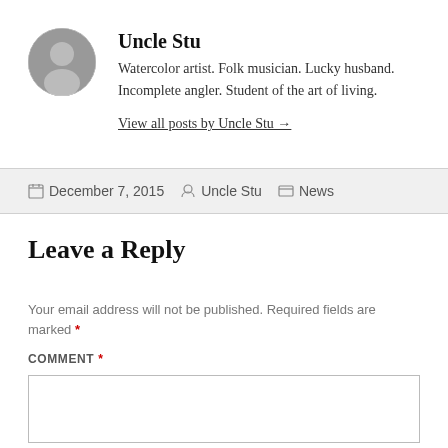[Figure (photo): Circular avatar photo of Uncle Stu, a man with short dark hair]
Uncle Stu
Watercolor artist. Folk musician. Lucky husband. Incomplete angler. Student of the art of living.
View all posts by Uncle Stu →
December 7, 2015  Uncle Stu  News
Leave a Reply
Your email address will not be published. Required fields are marked *
COMMENT *